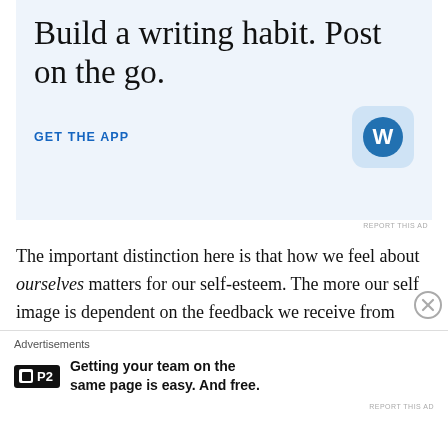[Figure (screenshot): WordPress app advertisement banner with light blue background. Large serif text reads 'Build a writing habit. Post on the go.' with a 'GET THE APP' link and WordPress app icon.]
REPORT THIS AD
The important distinction here is that how we feel about ourselves matters for our self-esteem. The more our self image is dependent on the feedback we receive from others, the more insecure we're going to be no matter HOW objectively hot people might think we are. For
[Figure (screenshot): Bottom advertisement bar with P2 logo and text: 'Getting your team on the same page is easy. And free.']